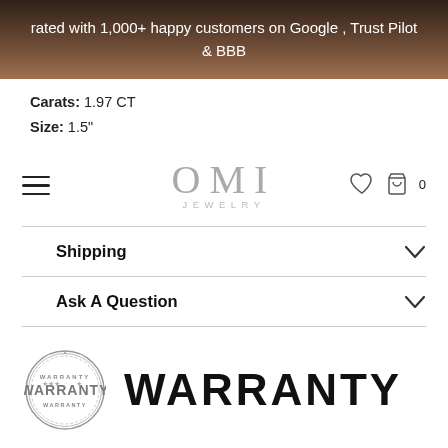rated with 1,000+ happy customers on Google , Trust Pilot & BBB
Carats: 1.97 CT
Size: 1.5"
[Figure (logo): OMI Jewelry logo with hamburger menu, heart icon, and shopping bag icon showing 0 items]
Shipping
Ask A Question
[Figure (illustration): Circular warranty stamp/seal graphic in grey]
WARRANTY